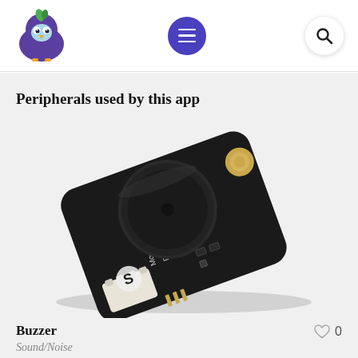Header with logo, menu button, and search button
Peripherals used by this app
[Figure (photo): A Digital Buzzer Module V2 electronic component on a black PCB board with a cylindrical buzzer element, gold contact pads, white JST connector, and surface-mounted components.]
Buzzer
Sound/Noise
0